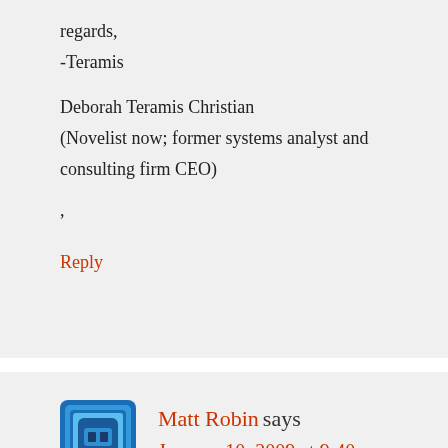regards,
-Teramis
Deborah Teramis Christian
(Novelist now; former systems analyst and consulting firm CEO)
,
Reply
Matt Robin says
January 10, 2009 at 9:40 am